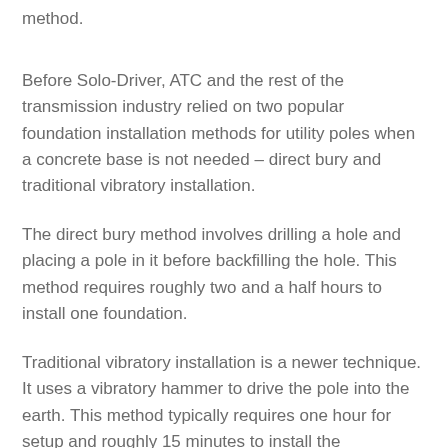method.
Before Solo-Driver, ATC and the rest of the transmission industry relied on two popular foundation installation methods for utility poles when a concrete base is not needed – direct bury and traditional vibratory installation.
The direct bury method involves drilling a hole and placing a pole in it before backfilling the hole. This method requires roughly two and a half hours to install one foundation.
Traditional vibratory installation is a newer technique. It uses a vibratory hammer to drive the pole into the earth. This method typically requires one hour for setup and roughly 15 minutes to install the foundation.